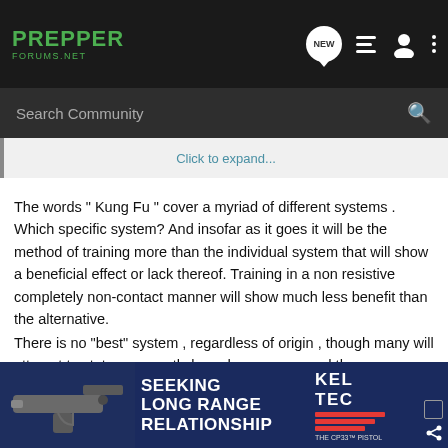PREPPER FORUMS.NET
Search Community
Click to expand...
The words " Kung Fu " cover a myriad of different systems . Which specific system? And insofar as it goes it will be the method of training more than the individual system that will show a beneficial effect or lack thereof. Training in a non resistive completely non-contact manner will show much less benefit than the alternative.
There is no "best" system , regardless of origin , though many will attempt to state so , mostly based upon ego , and there are very large differences in the manner of training within various different systems.
[Figure (screenshot): Advertisement banner for Kel-Tec CP33 pistol with text 'SEEKING LONG RANGE RELATIONSHIP' on a dark blue background with an image of the pistol]